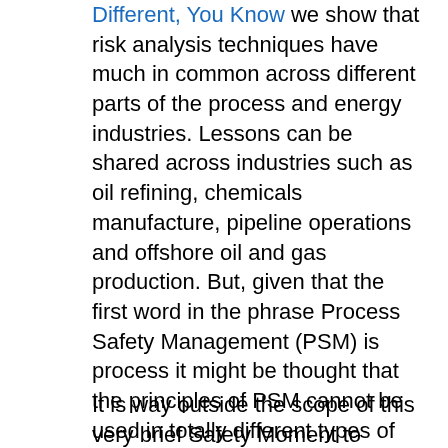Different, You Know we show that risk analysis techniques have much in common across different parts of the process and energy industries. Lessons can be shared across industries such as oil refining, chemicals manufacture, pipeline operations and offshore oil and gas production. But, given that the first word in the phrase Process Safety Management (PSM) is process it might be thought that the principles of PSM cannot be used in totally different types of industry that has nothing to do with chemical or energy processing. Yet this conclusion is incorrect. The management of risk in large industrial systems has much in common, regardless of the technology being considered. An example is to do with the new transportation system known as hyperloop.
It is way outside the scope of this very brief Safety Moment to describe the technology...